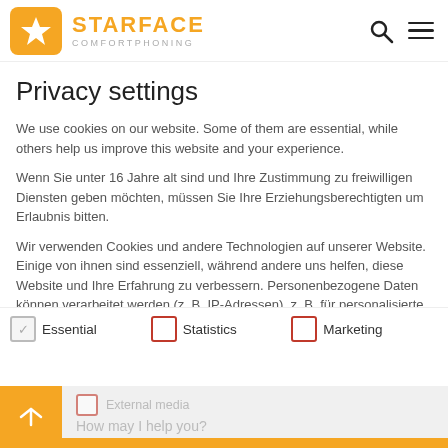[Figure (logo): Starface Comfortphoning logo: orange rounded square with white star, orange text STARFACE, grey COMFORTPHONING subtext]
Privacy settings
We use cookies on our website. Some of them are essential, while others help us improve this website and your experience.
Wenn Sie unter 16 Jahre alt sind und Ihre Zustimmung zu freiwilligen Diensten geben möchten, müssen Sie Ihre Erziehungsberechtigten um Erlaubnis bitten.
Wir verwenden Cookies und andere Technologien auf unserer Website. Einige von ihnen sind essenziell, während andere uns helfen, diese Website und Ihre Erfahrung zu verbessern. Personenbezogene Daten können verarbeitet werden (z. B. IP-Adressen), z. B. für personalisierte Anzeigen und Inhalte oder Anzeigen- und Inhaltsmessung. Weitere Informationen über die
Essential
Statistics
Marketing
External media
How may I help you?